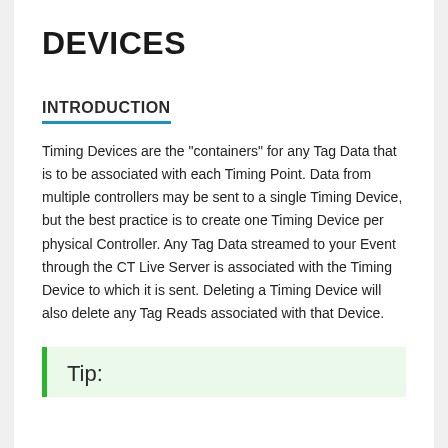DEVICES
INTRODUCTION
Timing Devices are the "containers" for any Tag Data that is to be associated with each Timing Point. Data from multiple controllers may be sent to a single Timing Device, but the best practice is to create one Timing Device per physical Controller. Any Tag Data streamed to your Event through the CT Live Server is associated with the Timing Device to which it is sent. Deleting a Timing Device will also delete any Tag Reads associated with that Device.
Tip: